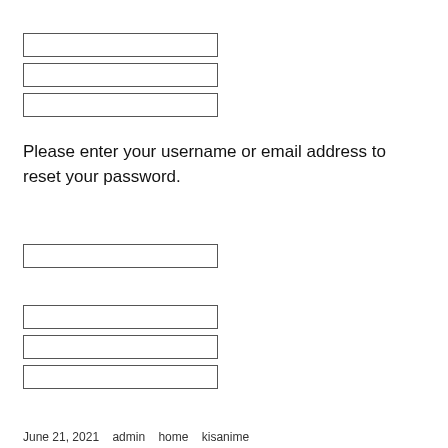[Figure (screenshot): Three empty input form fields stacked vertically]
Please enter your username or email address to reset your password.
[Figure (screenshot): One empty input form field]
[Figure (screenshot): Three empty input form fields stacked vertically]
June 21, 2021   admin   home   kisanime